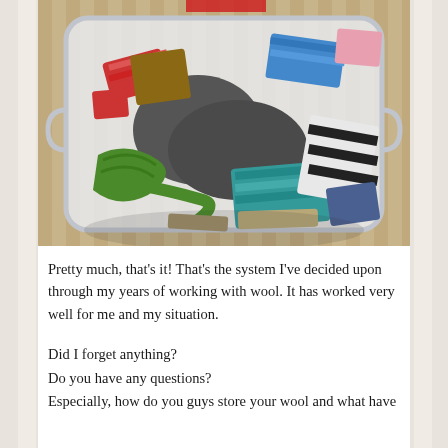[Figure (photo): Overhead view of a clear plastic storage bin filled with various colorful wool fabric scraps and knitted/woven textile pieces, sitting on a striped bamboo mat surface.]
Pretty much, that's it! That's the system I've decided upon through my years of working with wool. It has worked very well for me and my situation.
Did I forget anything?
Do you have any questions?
Especially, how do you guys store your wool and what have